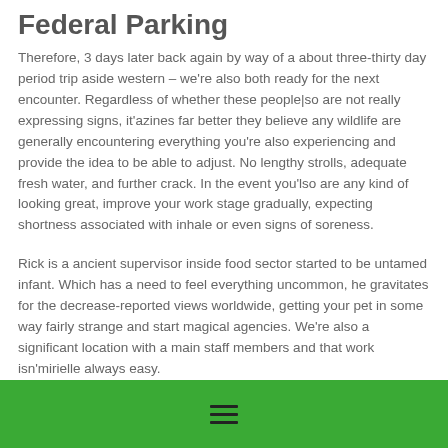Federal Parking
Therefore, 3 days later back again by way of a about three-thirty day period trip aside western – we're also both ready for the next encounter. Regardless of whether these people|so are not really expressing signs, it'azines far better they believe any wildlife are generally encountering everything you're also experiencing and provide the idea to be able to adjust. No lengthy strolls, adequate fresh water, and further crack. In the event you'lso are any kind of looking great, improve your work stage gradually, expecting shortness associated with inhale or even signs of soreness.
Rick is a ancient supervisor inside food sector started to be untamed infant. Which has a need to feel everything uncommon, he gravitates for the decrease-reported views worldwide, getting your pet in some way fairly strange and start magical agencies. We're also a significant location with a main staff members and that work isn'mirielle always easy.
These guys to decide on operations to obtain a respectable and
☰